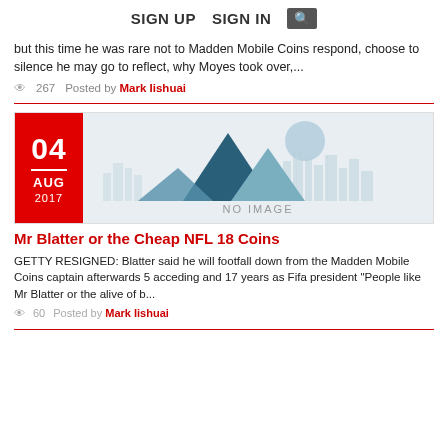SIGN UP   SIGN IN  🔍
but this time he was rare not to Madden Mobile Coins respond, choose to silence he may go to reflect, why Moyes took over,...
267   Posted by Mark Iishuai
[Figure (illustration): No image placeholder with mountain/cityscape silhouette graphic and date badge 04 AUG 2017 on red background]
Mr Blatter or the Cheap NFL 18 Coins
GETTY RESIGNED: Blatter said he will footfall down from the Madden Mobile Coins captain afterwards 5 acceding and 17 years as Fifa president "People like Mr Blatter or the alive of b...
60   Posted by Mark Iishuai